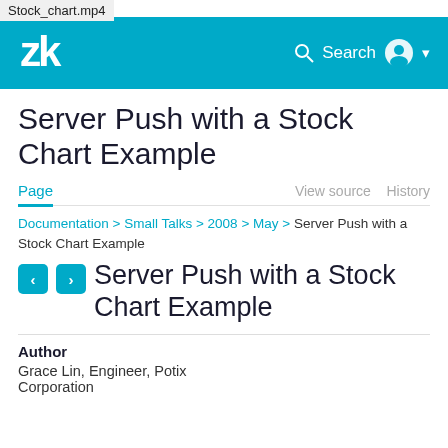Stock_chart.mp4
[Figure (logo): ZK framework logo - stylized 'zk' letters in white on teal background header bar with Search and user icon on right]
Server Push with a Stock Chart Example
Page | View source | History
Documentation > Small Talks > 2008 > May > Server Push with a Stock Chart Example
Server Push with a Stock Chart Example
Author
Grace Lin, Engineer, Potix Corporation